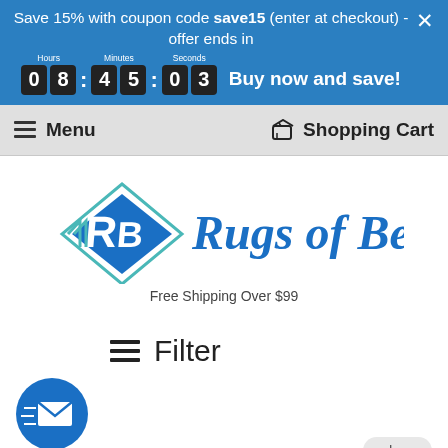Save 15% with coupon code save15 (enter at checkout) - offer ends in
08:45:03  Buy now and save!
Menu   Shopping Cart
[Figure (logo): Rugs of Beauty logo with diamond R B icon and italic blue text]
Free Shipping Over $99
Filter
[Figure (illustration): Blue circle with envelope and speed lines email icon, labeled STYLE below]
clear